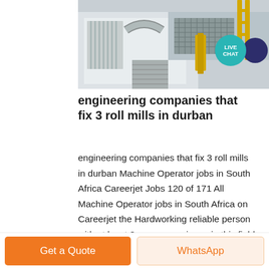[Figure (photo): Industrial machinery/engineering facility photo showing large white industrial equipment, pipes, and structural elements viewed from above]
engineering companies that fix 3 roll mills in durban
engineering companies that fix 3 roll mills in durban Machine Operator jobs in South Africa Careerjet Jobs 120 of 171 All Machine Operator jobs in South Africa on Careerjet the Hardworking reliable person with at least 3 years experience in this field and tension rollers Starts machine and laps end around